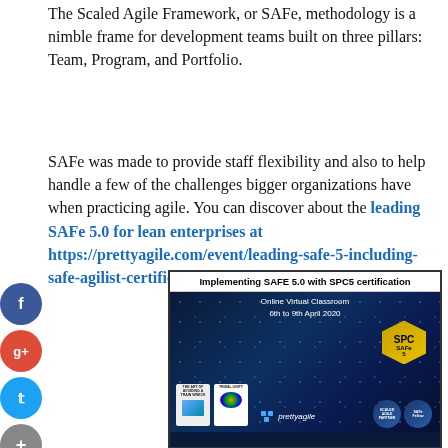The Scaled Agile Framework, or SAFe, methodology is a nimble frame for development teams built on three pillars: Team, Program, and Portfolio.
SAFe was made to provide staff flexibility and also to help handle a few of the challenges bigger organizations have when practicing agile. You can discover about the leading SAFe 5.0 for lean enterprises at https://prettyagile.com/event/leading-safe-5-including-safe-agilist-certification-melbourne/.
[Figure (photo): Advertisement banner for 'Implementing SAFE 5.0 with SPC5 certification' — Online Virtual Classroom, 6th to 9th April 2020, featuring SPC SAFe badge, book covers, prettyagile branding, and partner/fellow badges on a dark blue network-themed background.]